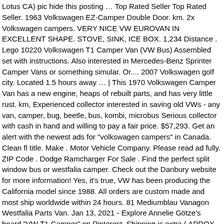Lotus CA) pic hide this posting … Top Rated Seller Top Rated Seller. 1963 Volkswagen EZ-Camper Double Door. km. 2x Volkswagen campers. VERY NICE VW EUROVAN IN EXCELLENT SHAPE. STOVE, SINK, ICE BOX. 1,234 Distance . Lego 10220 Volkswagen T1 Camper Van (VW Bus) Assembled set with instructions. Also interested in Mercedes-Benz Sprinter Camper Vans or something simular. Or.... 2007 Volkswagen golf city. Located 1.5 hours away … | This 1970 Volkswagen Camper Van has a new engine, heaps of rebuilt parts, and has very little rust. km, Experienced collector interested in saving old VWs - any van, camper, bug, beetle, bus, kombi, microbus Serious collector with cash in hand and willing to pay a fair price. $57,293. Get an alert with the newest ads for "volkswagen campers" in Canada. Clean fl title. Make . Motor Vehicle Company. Please read ad fully. ZIP Code . Dodge Ramcharger For Sale . Find the perfect split window bus or westfalia camper. Check out the Danbury website for more information! Yes, it's true, VW has been producing the California model since 1988. All orders are custom made and most ship worldwide within 24 hours. 81 Mediumblau Vanagon Westfalia Parts Van. Jan 13, 2021 - Explore Annelie Götze's board "VW T1 Camper" on Pinterest. Shipping is extra ( APROX 2000 to toronto) Final price (no offers) will be $16k depending on buyers needs or finish it off yourself! We sell quality parts cheap, not cheap parts. ONE VAN IS ALREADY CUT OUT RUST AND HAS $2,000 IN NEW BODY PANELS. Saved by E A. 1970 VW Sundial Hightop Camper For Sale. Including thousands of VW Bus, Camper, Vanagon, and Eurovan parts that you